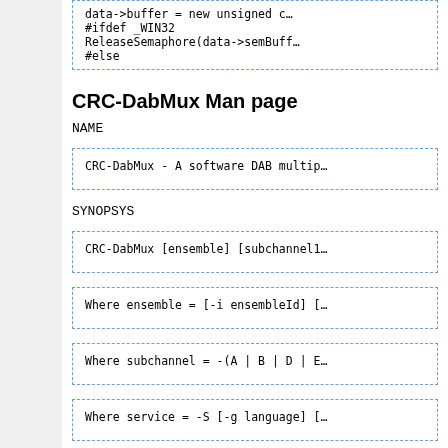[Figure (screenshot): Code snippet showing: data->buffer = new unsigned c... #ifdef _WIN32  ReleaseSemaphore(data->semBuff... #else]
CRC-DabMux Man page
NAME
[Figure (screenshot): Code box: CRC-DabMux - A software DAB multip...]
SYNOPSYS
[Figure (screenshot): Code box: CRC-DabMux [ensemble] [subchannel1...]
[Figure (screenshot): Code box: Where ensemble = [-i ensembleId] [...]
[Figure (screenshot): Code box: Where subchannel = -(A | B | D | E...]
[Figure (screenshot): Code box: Where service = -S [-g language] [...]